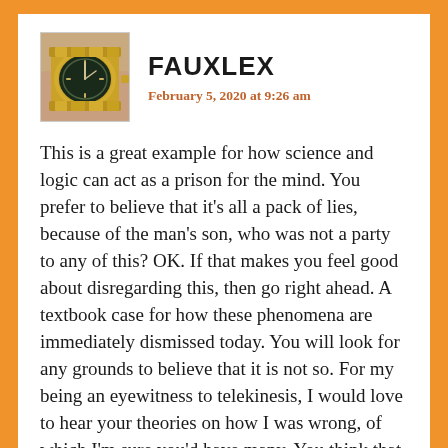[Figure (photo): Avatar image showing a Rolex watch on a wrist, gold and steel bracelet, black dial]
FAUXLEX
February 5, 2020 at 9:26 am
This is a great example for how science and logic can act as a prison for the mind. You prefer to believe that it's all a pack of lies, because of the man's son, who was not a party to any of this? OK. If that makes you feel good about disregarding this, then go right ahead. A textbook case for how these phenomena are immediately dismissed today. You will look for any grounds to believe that it is not so. For my being an eyewitness to telekinesis, I would love to hear your theories on how I was wrong, of which I'm sure you'd have many. You think that some Navajo nine miles away foreseeing an imminent epic disaster is not meaningful